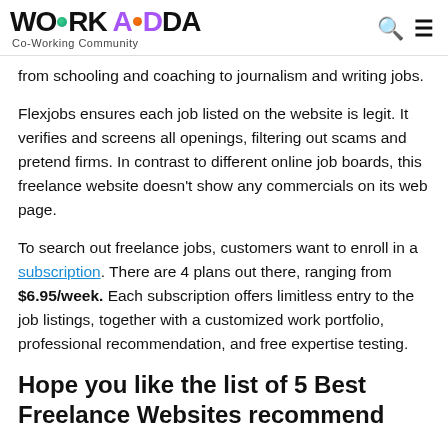WORK ADDA Co-Working Community
from schooling and coaching to journalism and writing jobs.
Flexjobs ensures each job listed on the website is legit. It verifies and screens all openings, filtering out scams and pretend firms. In contrast to different online job boards, this freelance website doesn't show any commercials on its web page.
To search out freelance jobs, customers want to enroll in a subscription. There are 4 plans out there, ranging from $6.95/week. Each subscription offers limitless entry to the job listings, together with a customized work portfolio, professional recommendation, and free expertise testing.
Hope you like the list of 5 Best Freelance Websites recommended